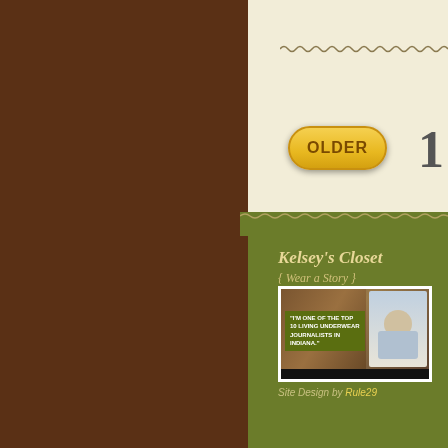[Figure (screenshot): Website footer area with brown sidebar, cream top section showing OLDER navigation button and page number 1, green lower area with site branding]
Kelsey's Closet
{ Wear a Story }
[Figure (screenshot): Video thumbnail showing a person with text overlay reading: I'm one of the top 10 living underwear journalists in Indiana]
Site Design by Rule29
I don't do business th...
— Stephen Stills